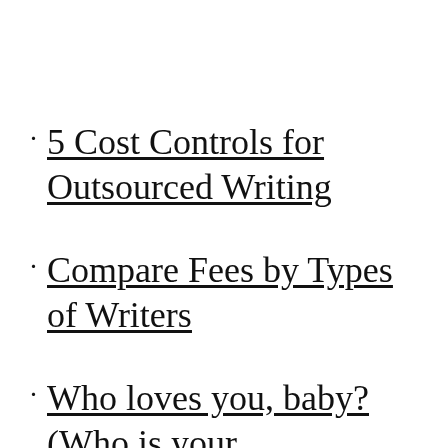5 Cost Controls for Outsourced Writing
Compare Fees by Types of Writers
Who loves you, baby? (Who is your